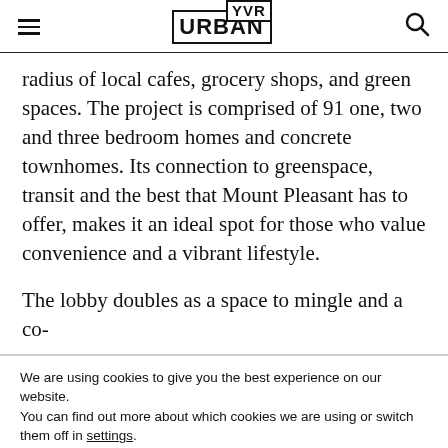URBAN YVR
radius of local cafes, grocery shops, and green spaces. The project is comprised of 91 one, two and three bedroom homes and concrete townhomes. Its connection to greenspace, transit and the best that Mount Pleasant has to offer, makes it an ideal spot for those who value convenience and a vibrant lifestyle.
The lobby doubles as a space to mingle and a co-
We are using cookies to give you the best experience on our website.
You can find out more about which cookies we are using or switch them off in settings.
Accept